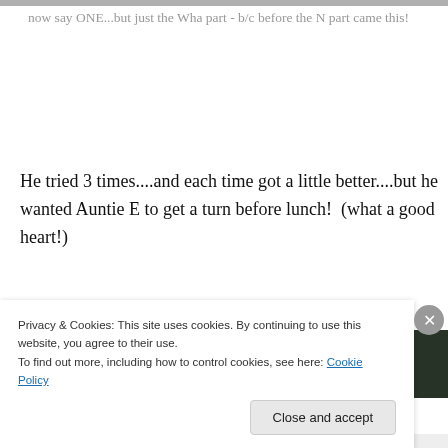[Figure (photo): Top strip of a photo, partially visible at the very top of the page]
now say ONE...but just the Wha part - b/c before the N part came this!
He tried 3 times....and each time got a little better....but he wanted Auntie E to get a turn before lunch!  (what a good heart!)
[Figure (photo): Partial outdoor photo showing a light-colored surface (possibly snow or pavement) and dark green trees/foliage in the background, partially obscured by the cookie consent overlay]
Privacy & Cookies: This site uses cookies. By continuing to use this website, you agree to their use.
To find out more, including how to control cookies, see here: Cookie Policy
Close and accept